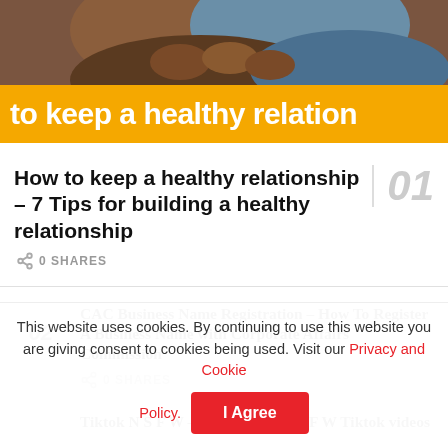[Figure (photo): Photo of two people holding hands, close-up of hands and torsos]
to keep a healthy relation
How to keep a healthy relationship – 7 Tips for building a healthy relationship
0 SHARES
CAC Business Name Registration – How To Register A Business Name with Corporate Affairs Commission
0 SHARES
Tiktok N S F W – How to find N S F W Tiktok videos
This website uses cookies. By continuing to use this website you are giving consent to cookies being used. Visit our Privacy and Cookie Policy.
I Agree